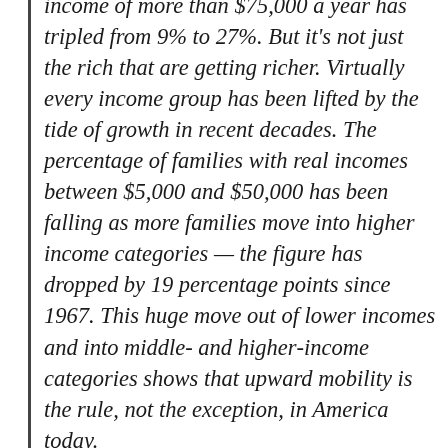income of more than $75,000 a year has tripled from 9% to 27%. But it's not just the rich that are getting richer. Virtually every income group has been lifted by the tide of growth in recent decades. The percentage of families with real incomes between $5,000 and $50,000 has been falling as more families move into higher income categories — the figure has dropped by 19 percentage points since 1967. This huge move out of lower incomes and into middle- and higher-income categories shows that upward mobility is the rule, not the exception, in America today.